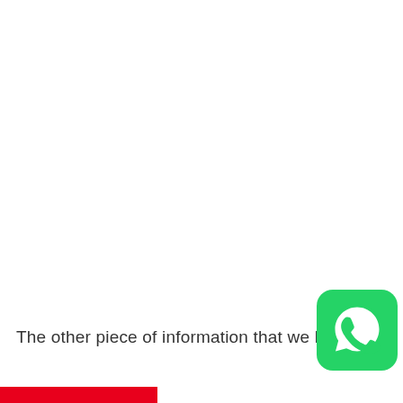The other piece of information that we have is
[Figure (logo): WhatsApp logo icon — green rounded square with white phone/chat bubble symbol]
[Figure (other): Red bar at bottom left of page]